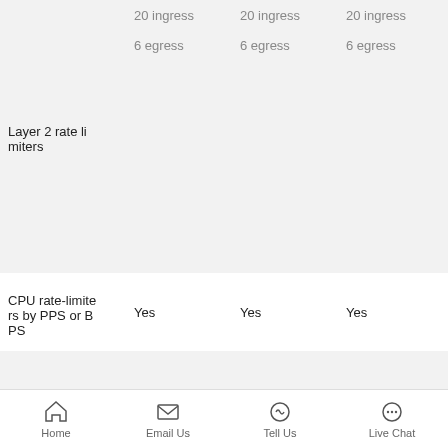| Layer 2 rate limiters | 20 ingress
6 egress | 20 ingress
6 egress | 20 ingress
6 egress | 20 ingress
6 egress |
| CPU rate-limiters by PPS or BPS | Yes | Yes | Yes | Yes |
|  |  |  |  | L2 |
Home  Email Us  Tell Us  Live Chat